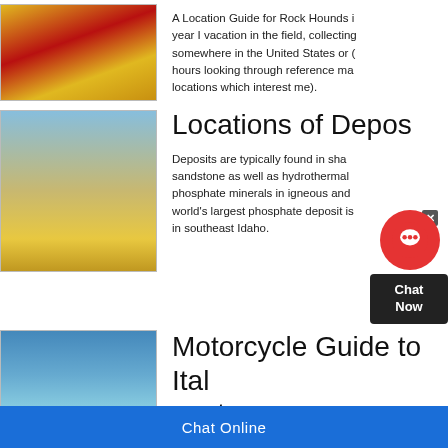[Figure (photo): Yellow industrial cylindrical machinery/rollers lined up]
A Location Guide for Rock Hounds in ... year I vacation in the field, collecting ... somewhere in the United States or ... hours looking through reference ma... locations which interest me).
[Figure (photo): Yellow heavy mining excavator machine working on a pile of crushed rock/gravel]
Locations of Depos...
Deposits are typically found in sha... sandstone as well as hydrothermal ... phosphate minerals in igneous and ... world's largest phosphate deposit is... in southeast Idaho.
[Figure (photo): Blue industrial facility or water park structures with palm trees]
Motorcycle Guide to Ital... eastern
[Figure (screenshot): Chat widget overlay with red circle icon and Chat Now text box]
Chat Online